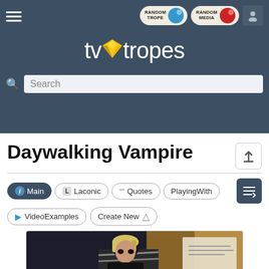TV Tropes navigation header with hamburger menu, Random Trope button, Random Media button, and user icon
[Figure (logo): TV Tropes logo with yellow gem diamond shape and white text 'tvtropes']
Search
Daywalking Vampire
Main | Laconic | Quotes | PlayingWith | VideoExamples | Create New
[Figure (photo): Photo of a blonde vampire character from what appears to be Buffy the Vampire Slayer, looking menacingly at the camera, inside a bordered frame]